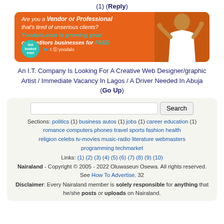(1) (Reply)
[Figure (illustration): Orange advertisement banner for Yoodalo.com with text 'Are you a Vendor or Professional that's tired of unserious clients? Yoodalo.com is growing your competitors businesses for FREE', a teal 'Get booked now!' bubble, social media icons, and a person in white vest on the right.]
An I.T. Company Is Looking For A Creative Web Designer/graphic Artist / Immediate Vacancy In Lagos / A Driver Needed In Abuja
(Go Up)
Search
Sections: politics (1) business autos (1) jobs (1) career education (1) romance computers phones travel sports fashion health religion celebs tv-movies music-radio literature webmasters programming techmarket
Links: (1) (2) (3) (4) (5) (6) (7) (8) (9) (10)
Nairaland - Copyright © 2005 - 2022 Oluwaseun Osewa. All rights reserved. See How To Advertise. 32
Disclaimer: Every Nairaland member is solely responsible for anything that he/she posts or uploads on Nairaland.